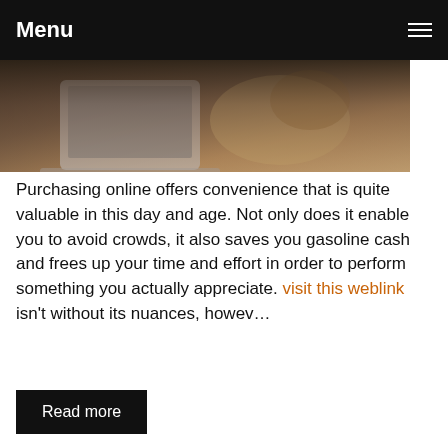Menu
[Figure (photo): Person using a laptop and holding a woven bag, shopping online]
Purchasing online offers convenience that is quite valuable in this day and age. Not only does it enable you to avoid crowds, it also saves you gasoline cash and frees up your time and effort in order to perform something you actually appreciate. visit this weblink isn't without its nuances, howev…
Read more
0 comments  Posted in General  Tags blog
Online Purchasing Tips